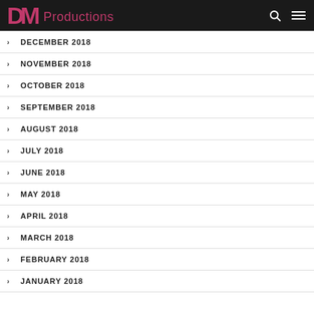DM Productions
DECEMBER 2018
NOVEMBER 2018
OCTOBER 2018
SEPTEMBER 2018
AUGUST 2018
JULY 2018
JUNE 2018
MAY 2018
APRIL 2018
MARCH 2018
FEBRUARY 2018
JANUARY 2018